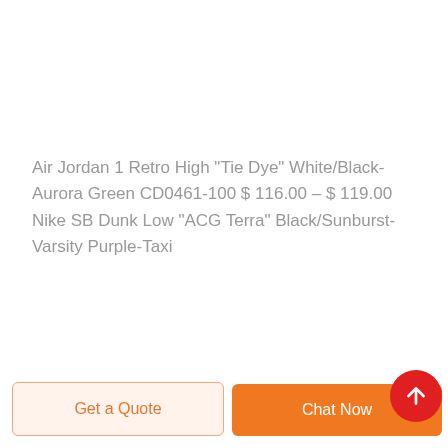Air Jordan 1 Retro High "Tie Dye" White/Black-Aurora Green CD0461-100 $ 116.00 – $ 119.00 Nike SB Dunk Low "ACG Terra" Black/Sunburst-Varsity Purple-Taxi
Get a Quote
Chat Now